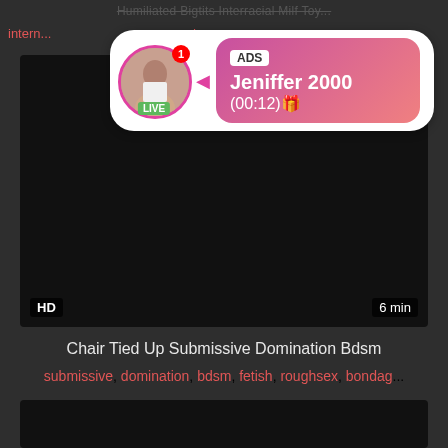Humiliated Bigtits Interracial Milf Toy...
intern... ...nds...
[Figure (other): Ad overlay with live webcam user Jeniffer 2000, LIVE badge, notification badge showing 1, pink gradient ad panel with ADS tag and time (00:12)]
[Figure (other): Black video thumbnail with HD badge and 6 min duration label]
Chair Tied Up Submissive Domination Bdsm
submissive, domination, bdsm, fetish, roughsex, bondag...
[Figure (other): Black video thumbnail, second video]